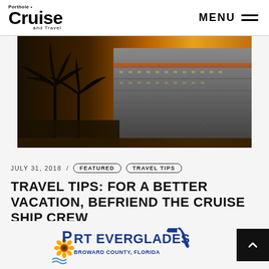Porthole Cruise and Travel  MENU
[Figure (photo): Hero image of a large cruise ship docked at port with palm trees silhouetted against a golden sunset sky]
JULY 31, 2018  /  FEATURED  TRAVEL TIPS
TRAVEL TIPS: FOR A BETTER VACATION, BEFRIEND THE CRUISE SHIP CREW
[Figure (logo): Port Everglades - Broward County, Florida logo with sunflower and Florida state outline]